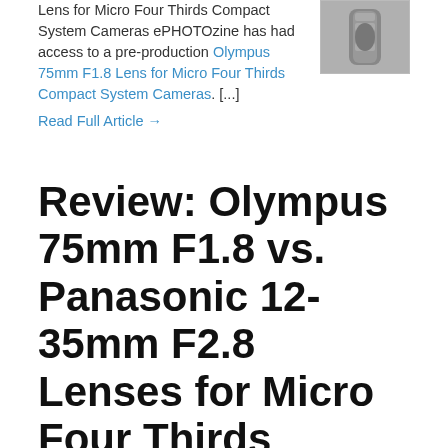Lens for Micro Four Thirds Compact System Cameras ePHOTOzine has had access to a pre-production Olympus 75mm F1.8 Lens for Micro Four Thirds Compact System Cameras. [...]
[Figure (photo): Small thumbnail photo of a camera lens, cylindrical metallic object]
Read Full Article →
Review: Olympus 75mm F1.8 vs. Panasonic 12-35mm F2.8 Lenses for Micro Four Thirds Compact System Cameras